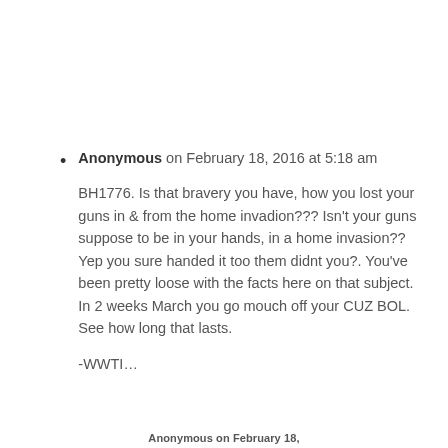Anonymous on February 18, 2016 at 5:18 am

BH1776. Is that bravery you have, how you lost your guns in & from the home invadion??? Isn't your guns suppose to be in your hands, in a home invasion?? Yep you sure handed it too them didnt you?. You've been pretty loose with the facts here on that subject. In 2 weeks March you go mouch off your CUZ BOL. See how long that lasts.

-WWTI…
Anonymous on February 18,